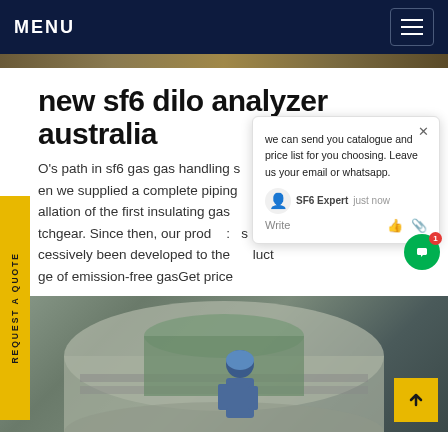MENU
[Figure (photo): Narrow photo strip showing industrial/outdoor scene at top of page]
new sf6 dilo analyzer australia
O's path in sf6 gas gas handling s 7, en we supplied a complete piping allation of the first insulating gas ed tchgear. Since then, our prod : s cessively been developed to the luct ge of emission-free gasGet price
[Figure (screenshot): Chat popup overlay showing: we can send you catalogue and price list for you choosing. Leave us your email or whatsapp. SF6 Expert just now. Write (with icons)]
[Figure (photo): Industrial scene showing a worker in blue hard hat and protective gear working on large metal cylindrical equipment/pipes]